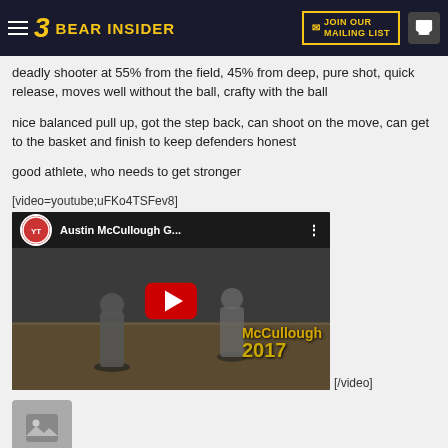3 BEAR INSIDER | JOIN OUR MAILING LIST
deadly shooter at 55% from the field, 45% from deep, pure shot, quick release, moves well without the ball, crafty with the ball
nice balanced pull up, got the step back, can shoot on the move, can get to the basket and finish to keep defenders honest
good athlete, who needs to get stronger
[video=youtube;uFKo4TSFev8]
[Figure (screenshot): YouTube video thumbnail for 'Austin McCullough G...' showing a basketball player on court with yellow text overlay reading 'McCullough 2017' and a red YouTube play button]
[/video]
[Figure (photo): Image placeholder icon showing a mountain/landscape thumbnail]